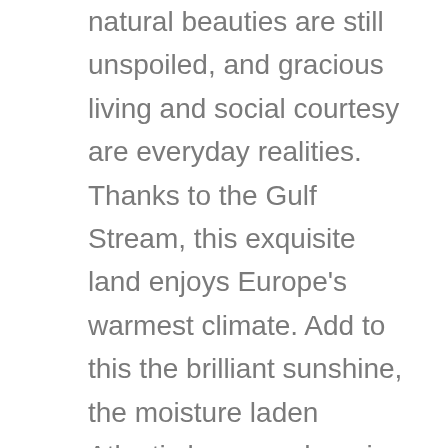natural beauties are still unspoiled, and gracious living and social courtesy are everyday realities. Thanks to the Gulf Stream, this exquisite land enjoys Europe's warmest climate. Add to this the brilliant sunshine, the moisture laden Atlantic breezes dropping gentle rains on the mountain slopes, and you have a landscape of living green which greets you every morning with a riot of flowers in all colours of the rainbow. But there is more! Portugal is also luxurious hotels, plush casinos, cozy nightclubs, exciting floorshows and fantastic beaches of white sand beside blue seas. It is stately royal palaces and hand embroidered table cloths in little outdoor cafes under flowering trees. It is peaceful beauty and granite monasteries, Moorish castles and blossoming almond trees, picturesque